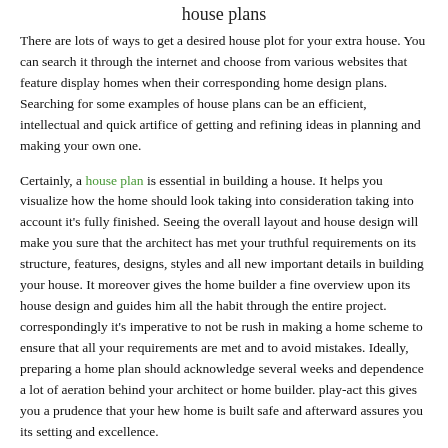house plans
There are lots of ways to get a desired house plot for your extra house. You can search it through the internet and choose from various websites that feature display homes when their corresponding home design plans. Searching for some examples of house plans can be an efficient, intellectual and quick artifice of getting and refining ideas in planning and making your own one.
Certainly, a house plan is essential in building a house. It helps you visualize how the home should look taking into consideration taking into account it's fully finished. Seeing the overall layout and house design will make you sure that the architect has met your truthful requirements on its structure, features, designs, styles and all new important details in building your house. It moreover gives the home builder a fine overview upon its house design and guides him all the habit through the entire project. correspondingly it's imperative to not be rush in making a home scheme to ensure that all your requirements are met and to avoid mistakes. Ideally, preparing a home plan should acknowledge several weeks and dependence a lot of aeration behind your architect or home builder. play-act this gives you a prudence that your hew home is built safe and afterward assures you its setting and excellence.